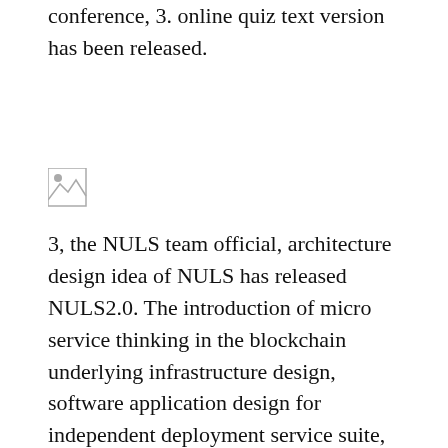conference, 3. online quiz text version has been released.
[Figure (photo): Broken/missing image placeholder icon]
3, the NULS team official, architecture design idea of NULS has released NULS2.0. The introduction of micro service thinking in the blockchain underlying infrastructure design, software application design for independent deployment service suite, will be leading this architecture design idea is introduced to the module design, module can let like independent startup procedure is flexible, and solves programming language threshold limit. The new architecture design is completed by